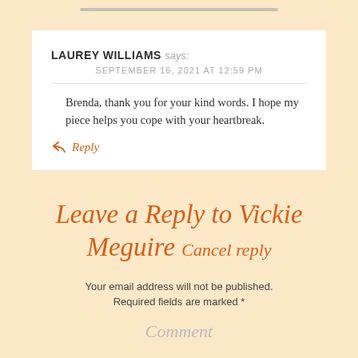LAUREY WILLIAMS says: SEPTEMBER 16, 2021 AT 12:59 PM
Brenda, thank you for your kind words. I hope my piece helps you cope with your heartbreak.
Reply
Leave a Reply to Vickie Meguire Cancel reply
Your email address will not be published. Required fields are marked *
Comment